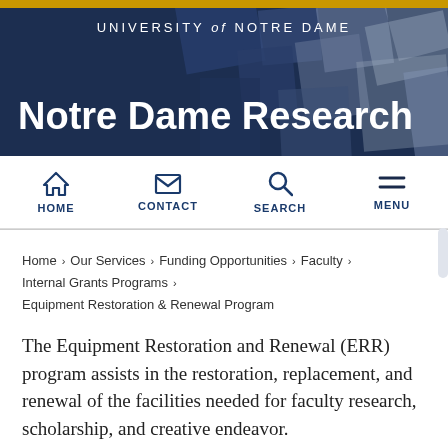UNIVERSITY of NOTRE DAME
Notre Dame Research
HOME  CONTACT  SEARCH  MENU
Home › Our Services › Funding Opportunities › Faculty › Internal Grants Programs › Equipment Restoration & Renewal Program
The Equipment Restoration and Renewal (ERR) program assists in the restoration, replacement, and renewal of the facilities needed for faculty research, scholarship, and creative endeavor.